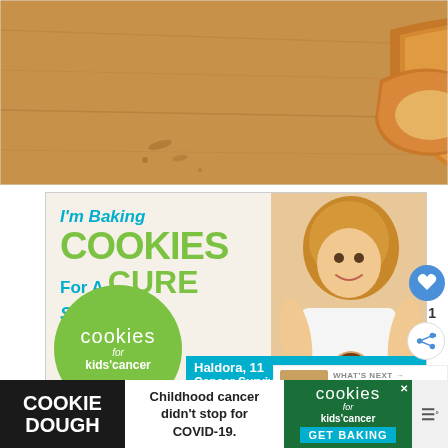[Figure (photo): Close-up photo of sliced bread on a wooden cutting board, warm golden-brown tones]
[Figure (infographic): Advertisement banner: 'I'm Baking COOKIES For A CURE So can you!' with a smiling girl holding a cookie on a plate. Cookies for Kids' Cancer logo in green circle. Haldora, 11 Cancer Survivor label in teal.]
[Figure (infographic): Bottom banner ad: COOKIE DOUGH | Childhood cancer didn't stop for COVID-19. | cookies for kids' cancer GET BAKING]